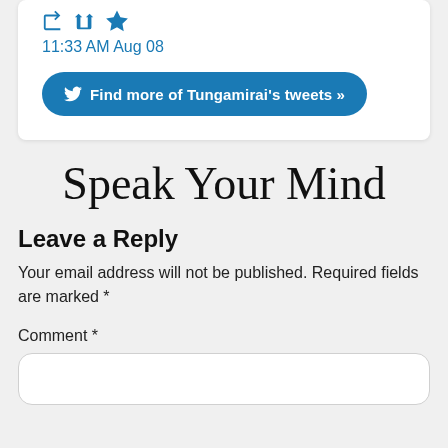[Figure (screenshot): Twitter action icons: reply, retweet, favorite]
11:33 AM Aug 08
[Figure (screenshot): Button: Find more of Tungamirai's tweets »]
Speak Your Mind
Leave a Reply
Your email address will not be published. Required fields are marked *
Comment *